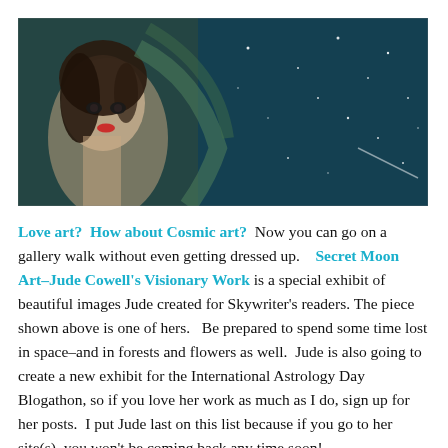[Figure (illustration): A painting showing a dark-haired woman with pale skin and red lips on the left side, against a deep teal/dark blue starry night sky background on the right, with faint cosmic and celestial imagery.]
Love art?  How about Cosmic art?  Now you can go on a gallery walk without even getting dressed up.   Secret Moon Art–Jude Cowell's Visionary Work is a special exhibit of beautiful images Jude created for Skywriter's readers. The piece shown above is one of hers.   Be prepared to spend some time lost in space–and in forests and flowers as well.  Jude is also going to create a new exhibit for the International Astrology Day Blogathon, so if you love her work as much as I do, sign up for her posts.  I put Jude last on this list because if you go to her site(s), you won't be coming back any time soon!